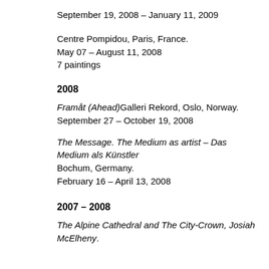September 19, 2008 – January 11, 2009
Centre Pompidou, Paris, France.
May 07 – August 11, 2008
7 paintings
2008
Framåt (Ahead)Galleri Rekord, Oslo, Norway.
September 27  – October 19, 2008
The Message. The Medium as artist – Das Medium als Künstler
Bochum, Germany.
February 16 – April 13, 2008
2007 – 2008
The Alpine Cathedral and The City-Crown, Josiah McElheny.